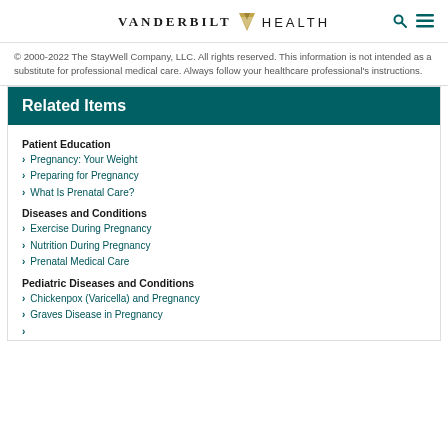VANDERBILT HEALTH
© 2000-2022 The StayWell Company, LLC. All rights reserved. This information is not intended as a substitute for professional medical care. Always follow your healthcare professional's instructions.
Related Items
Patient Education
Pregnancy: Your Weight
Preparing for Pregnancy
What Is Prenatal Care?
Diseases and Conditions
Exercise During Pregnancy
Nutrition During Pregnancy
Prenatal Medical Care
Pediatric Diseases and Conditions
Chickenpox (Varicella) and Pregnancy
Graves Disease in Pregnancy